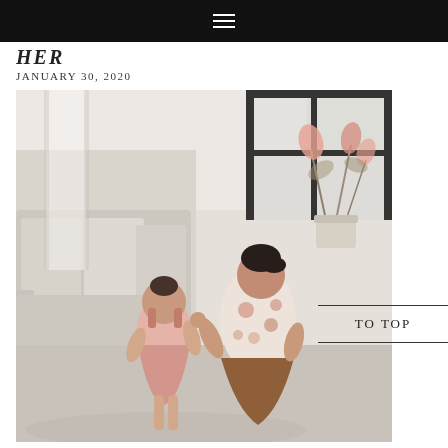☰
HER
JANUARY 30, 2020
[Figure (photo): A woman in a floral dress crouches down to interact with a small toddler in a pink dress, set in a bright white living room with a sofa, curtains, and pink flowers in the background.]
TO TOP